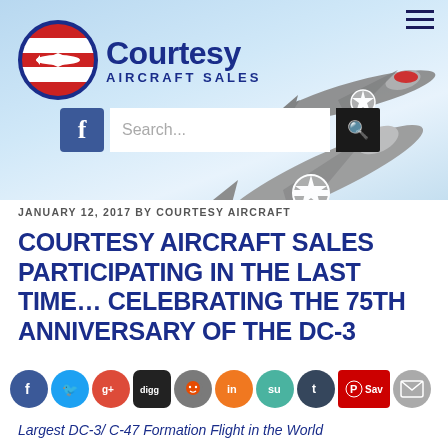[Figure (screenshot): Courtesy Aircraft Sales website header with logo, WWII fighter plane background, Facebook icon, and search bar]
JANUARY 12, 2017 BY COURTESY AIRCRAFT
COURTESY AIRCRAFT SALES PARTICIPATING IN THE LAST TIME… CELEBRATING THE 75TH ANNIVERSARY OF THE DC-3
[Figure (infographic): Row of social media sharing icons: Facebook, Twitter, Google+, Digg, Reddit, LinkedIn, StumbleUpon, Tumblr, Pinterest Save, Email]
Largest DC-3/ C-47 Formation Flight in the World